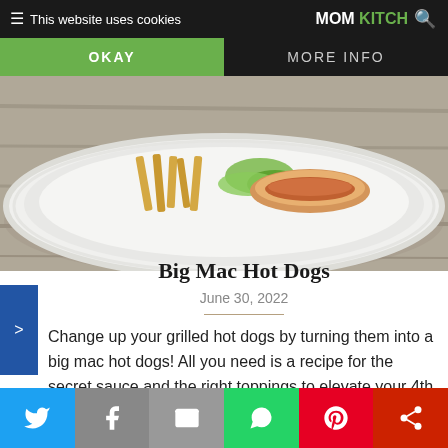This website uses cookies | MOM KITCHEN | OKAY | MORE INFO
[Figure (photo): Photo of a white plate with hot dogs, chips/fries and green garnish on a wooden table surface]
Big Mac Hot Dogs
June 30, 2022
Change up your grilled hot dogs by turning them into a big mac hot dogs! All you need is a recipe for the secret sauce and the right toppings to elevate your 4th of July cook out. So the original...
Social share buttons: Twitter, Facebook, Email, WhatsApp, Pinterest, More